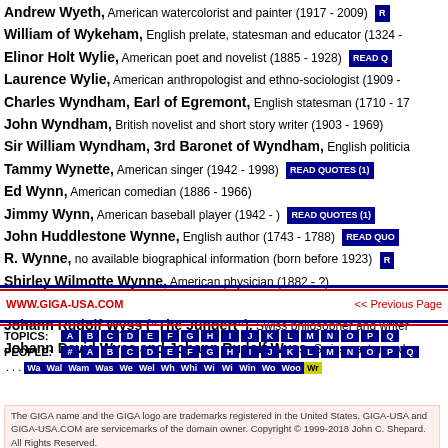Andrew Wyeth, American watercolorist and painter (1917 - 2009)
William of Wykeham, English prelate, statesman and educator (1324 -
Elinor Holt Wylie, American poet and novelist (1885 - 1928)
Laurence Wylie, American anthropologist and ethno-sociologist (1909 -
Charles Wyndham, Earl of Egremont, English statesman (1710 - 17
John Wyndham, British novelist and short story writer (1903 - 1969)
Sir William Wyndham, 3rd Baronet of Wyndham, English politicia
Tammy Wynette, American singer (1942 - 1998)
Ed Wynn, American comedian (1886 - 1966)
Jimmy Wynn, American baseball player (1942 - )
John Huddlestone Wynne, English author (1743 - 1788)
R. Wynne, no available biographical information (born before 1923)
Shirley Wilmotte Wynne, American physician (1882 - ?)
Johann David Wyss, Swiss pastor (originator of "Swiss Family Robins
Johann Rudolf Wyss ("The Jungert"), Swiss philosopher and writer
Johann David Wyss and Johann Rudolf Wyss, Swiss pastor and
WWW.GIGA-USA.COM   << Previous Page
TOPICS: A B C D E F G H I J K L M N O P Q  PEOPLE: # A B C D E F G H I J K L M N O P Q  ... Wa Wal Wam Was We Wel Wh Whi Wi Wi Win Wo Woo Wr
The GIGA name and the GIGA logo are trademarks registered in the United States. GIGA-USA and GIGA-USA.COM are servicemarks of the domain owner. Copyright © 1999-2018 John C. Shepard. All Rights Reserved.